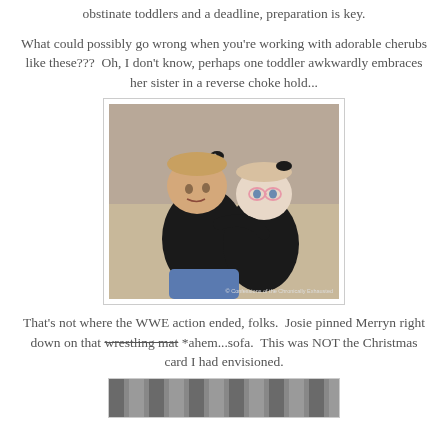obstinate toddlers and a deadline, preparation is key.
What could possibly go wrong when you're working with adorable cherubs like these???  Oh, I don't know, perhaps one toddler awkwardly embraces her sister in a reverse choke hold...
[Figure (photo): Two toddler girls in black outfits with black hair bows, one hugging/embracing the other from behind. Watermark reads '© Confessions of the Chronically Exhausted']
That's not where the WWE action ended, folks.  Josie pinned Merryn right down on that wrestling mat *ahem...sofa.  This was NOT the Christmas card I had envisioned.
[Figure (photo): Partial photo visible at bottom of page, appears to show striped pattern, likely a sofa]